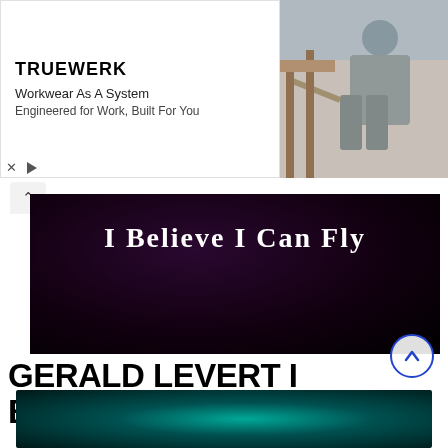[Figure (other): TRUEWERK advertisement banner with logo, 'Workwear As A System' headline, 'Engineered for Work, Built For You' subtext, and photo of worker crouching outdoors]
[Figure (screenshot): Video thumbnail showing 'I Believe I Can Fly' text in white serif font on dark/black background]
GERALD LEVERT I BELIEVE I CAN FLY LYRICS
[Figure (screenshot): Video thumbnail with dark teal/green gradient background at bottom of page]